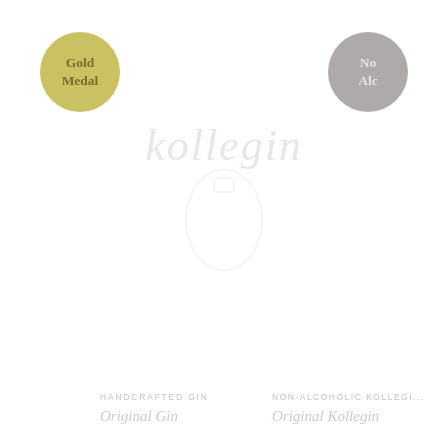[Figure (logo): Gold Medal circular badge with text 'Gold Medal' in dark gold on light gold background]
[Figure (logo): No Alc circular badge with text 'No Alc' in light color on grey background]
[Figure (illustration): Faded brand logo text in italic serif font, partially visible in background]
HANDCRAFTED GIN
Original Gin
NON-ALCOHOLIC KOLLEGIN
Original Kollegin
We use cookies on our website to give you the most relevant experience by remembering your preferences and repeat visits. By clicking "Accept All", you consent to the use of ALL the cookies. However, you may visit "Cookie Settings" to provide a controlled consent.
Cookie Settings
Accept All